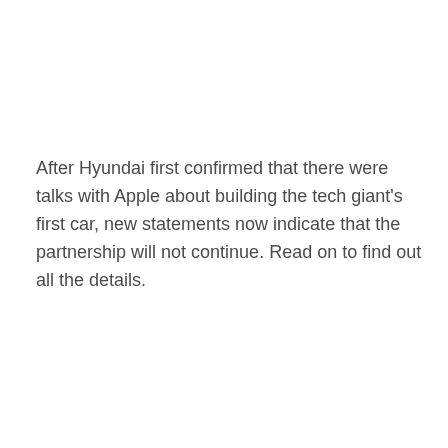After Hyundai first confirmed that there were talks with Apple about building the tech giant's first car, new statements now indicate that the partnership will not continue. Read on to find out all the details.